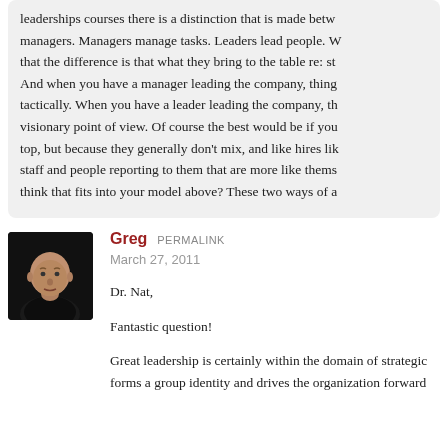leaderships courses there is a distinction that is made between leaders and managers. Managers manage tasks. Leaders lead people. What I have found is that the difference is that what they bring to the table re: strategy differs. And when you have a manager leading the company, things are done more tactically. When you have a leader leading the company, things are done from a visionary point of view. Of course the best would be if you had both at the top, but because they generally don't mix, and like hires like, they build staff and people reporting to them that are more like themselves. Where do you think that fits into your model above? These two ways of a
[Figure (photo): Avatar photo of Greg — a bald man wearing a black shirt against a dark background]
Greg  PERMALINK
March 27, 2011
Dr. Nat,
Fantastic question!
Great leadership is certainly within the domain of strategic forms a group identity and drives the organization forward